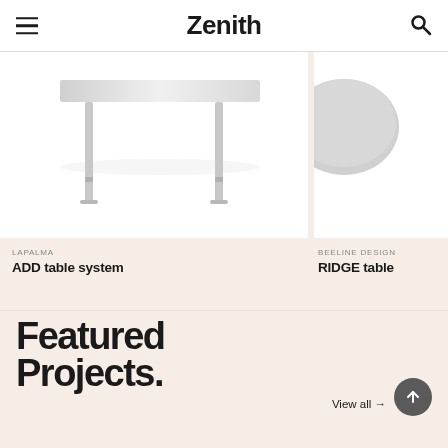Zenith
[Figure (photo): Product photo of ADD table system by Lapalma, white table with clean lines on light background]
LAPALMA
ADD table system
[Figure (photo): Partial product photo of RIDGE table by Beeline Design, partially cropped on right side]
BEELINE DESIGN
RIDGE table
Featured Projects.
View all →